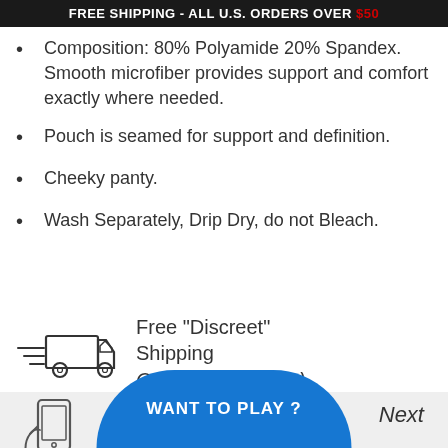FREE SHIPPING - ALL U.S. ORDERS OVER $50
Composition: 80% Polyamide 20% Spandex. Smooth microfiber provides support and comfort exactly where needed.
Pouch is seamed for support and definition.
Cheeky panty.
Wash Separately, Drip Dry, do not Bleach.
[Figure (illustration): Delivery truck icon — outline style truck with speed lines]
Free "Discreet" Shipping
Orders $50+ (U.S.)
[Figure (illustration): Hand holding smartphone icon — outline style]
Order Now!
WANT TO PLAY ?
Next